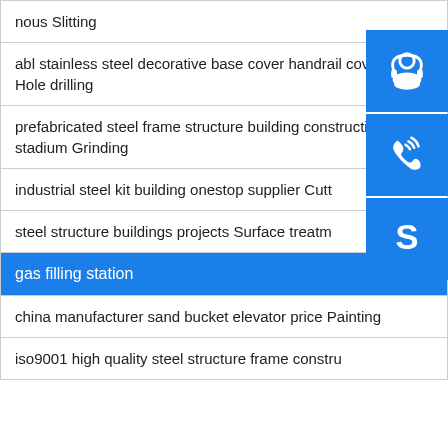nous Slitting
abl stainless steel decorative base cover handrail cover cc97 Hole drilling
prefabricated steel frame structure building construction for stadium Grinding
industrial steel kit building onestop supplier Cutting
steel structure buildings projects Surface treatment
gas filling station
china manufacturer sand bucket elevator price Painting
iso9001 high quality steel structure frame constru